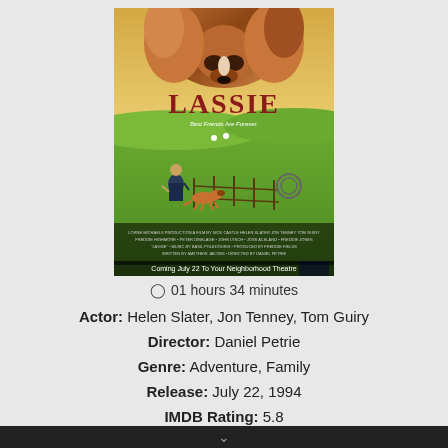[Figure (photo): Lassie movie poster showing a collie dog in the foreground above a green countryside scene with a boy and a collie running near a fence. Text reads 'LASSIE', 'Best Friends Are Forever', and 'Coming July 22 To Your Neighborhood Theatre'.]
01 hours 34 minutes
Actor: Helen Slater, Jon Tenney, Tom Guiry
Director: Daniel Petrie
Genre: Adventure, Family
Release: July 22, 1994
IMDB Rating: 5.8